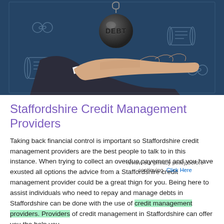[Figure (photo): A hand in a business suit outstretched with a dark ball labeled 'DEBT' hovering above it, against a dark blue chalkboard background with drawings of handcuffs and scrolls.]
Staffordshire Credit Management Providers
Taking back financial control is important so Staffordshire credit management providers are the best people to talk to in this instance. When trying to collect an overdue payement and you have exusted all options the advice from a Staffordshire credit management provider could be a great thign for you. Being here to assist individuals who need to repay and manage debts in Staffordshire can be done with the use of credit management providers. Providers of credit management in Staffordshire can offer you the help you